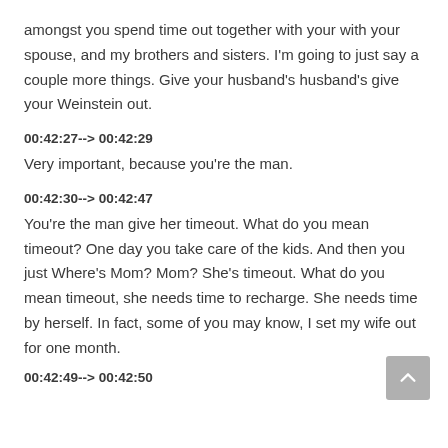amongst you spend time out together with your with your spouse, and my brothers and sisters. I'm going to just say a couple more things. Give your husband's husband's give your Weinstein out.
00:42:27--> 00:42:29
Very important, because you're the man.
00:42:30--> 00:42:47
You're the man give her timeout. What do you mean timeout? One day you take care of the kids. And then you just Where's Mom? Mom? She's timeout. What do you mean timeout, she needs time to recharge. She needs time by herself. In fact, some of you may know, I set my wife out for one month.
00:42:49--> 00:42:50